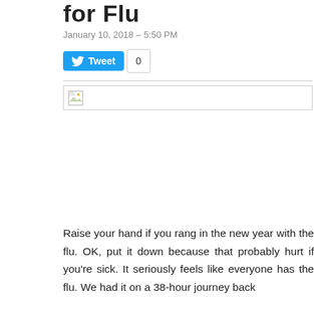for Flu
January 10, 2018 – 5:50 PM
[Figure (other): Twitter Tweet button with count 0]
[Figure (other): Broken image placeholder with divider line]
Raise your hand if you rang in the new year with the flu. OK, put it down because that probably hurt if you're sick. It seriously feels like everyone has the flu. We had it on a 38-hour journey back